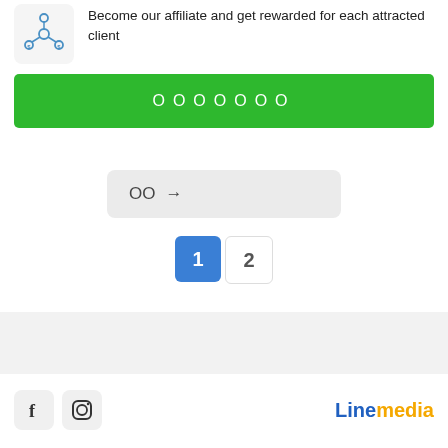[Figure (illustration): Affiliate network icon: nodes connected with dollar signs, in blue line art style on light gray rounded square background]
Become our affiliate and get rewarded for each attracted client
ООООООО
ОО →
1
2
[Figure (logo): Facebook icon: white f on light gray rounded square]
[Figure (logo): Instagram icon: camera outline on light gray rounded square]
Linemedia